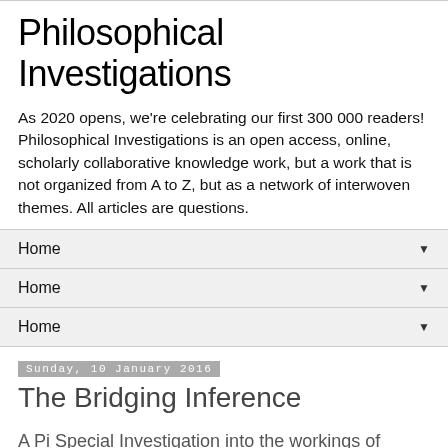Philosophical Investigations
As 2020 opens, we're celebrating our first 300 000 readers! Philosophical Investigations is an open access, online, scholarly collaborative knowledge work, but a work that is not organized from A to Z, but as a network of interwoven themes. All articles are questions.
Home
Home
Home
Sunday, 10 January 2016
The Bridging Inference
A Pi Special Investigation into the workings of language